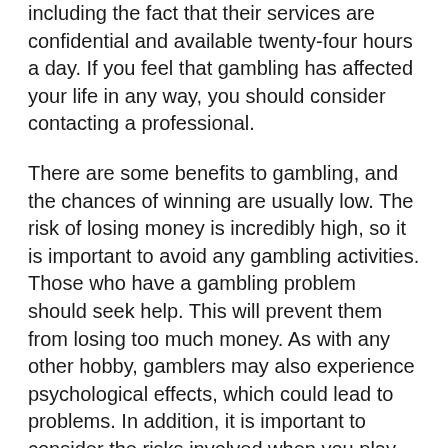including the fact that their services are confidential and available twenty-four hours a day. If you feel that gambling has affected your life in any way, you should consider contacting a professional.
There are some benefits to gambling, and the chances of winning are usually low. The risk of losing money is incredibly high, so it is important to avoid any gambling activities. Those who have a gambling problem should seek help. This will prevent them from losing too much money. As with any other hobby, gamblers may also experience psychological effects, which could lead to problems. In addition, it is important to consider the risks involved when you play.
Depending on the extent of the addiction, it can have serious consequences. For example, a person with a gambling problem may spend their paycheck to gamble. While an adult may spend their earnings to satisfy their desire to gamble, a teenager may